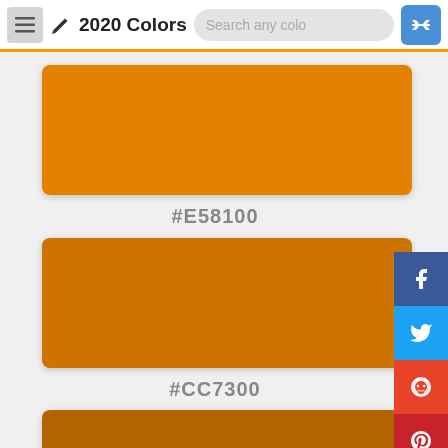2020 Colors
[Figure (other): Color swatch #E58100 - orange/amber color block]
#E58100
[Figure (other): Color swatch #CC7300 - darker amber/golden brown color block]
#CC7300
[Figure (other): Color swatch #B26400 - dark brown/golden color block]
#B26400